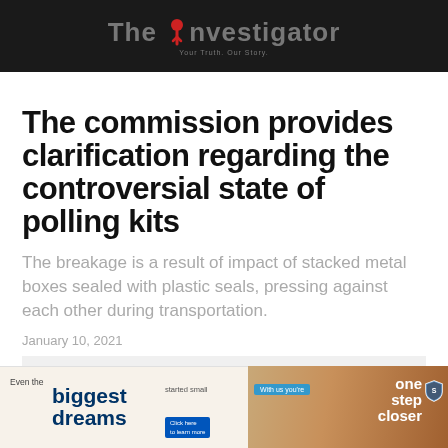The Investigator
The commission provides clarification regarding the controversial state of polling kits
The breakage is a result of impact of stacked metal boxes sealed with plastic seals, pressing against each other during transportation.
January 10, 2021
[Figure (photo): Advertisement banner: Standard Bank 'Even the biggest dreams started small. One step closer.' with person and tractor imagery]